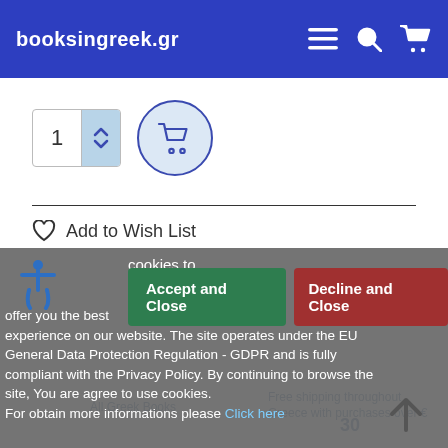booksingreek.gr
[Figure (screenshot): Quantity selector with number 1 and up/down arrows, plus circular add-to-cart button]
Add to Wish List
[Figure (screenshot): Cookie consent overlay with Accept and Close (green) and Decline and Close (red) buttons, accessibility icon, and GDPR cookie notice text with Click here link]